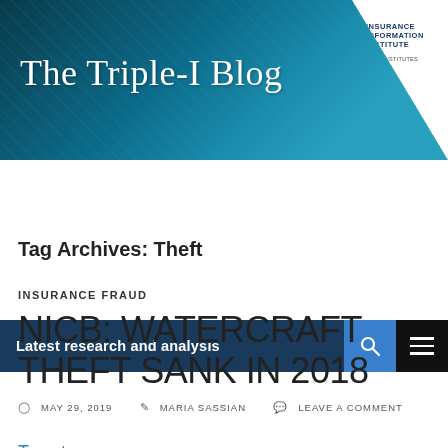The Triple-I Blog
Latest research and analysis
Tag Archives: Theft
INSURANCE FRAUD
NICB: WATERCRAFT THEFT SANK IN 2018
MAY 29, 2019  MARIA SASSIAN  LEAVE A COMMENT
Tweet